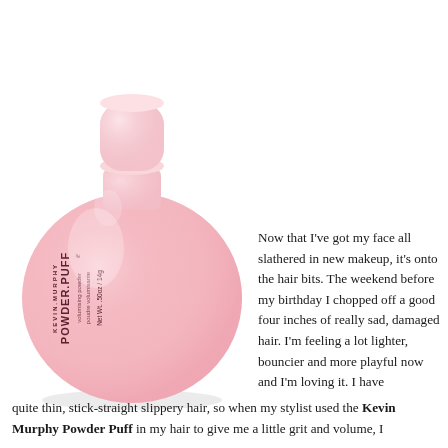[Figure (photo): Pink round bottle of Kevin Murphy Powder Puff volumising powder, Net Wt. .50oz/14g, with a small cylindrical pink cap on top. The bottle is a soft pastel pink sphere shape.]
Now that I've got my face all slathered in new makeup, it's onto the hair bits. The weekend before my birthday I chopped off a good four inches of really sad, damaged hair. I'm feeling a lot lighter, bouncier and more playful now and I'm loving it. I have quite thin, stick-straight slippery hair, so when my stylist used the Kevin Murphy Powder Puff in my hair to give me a little grit and volume, I